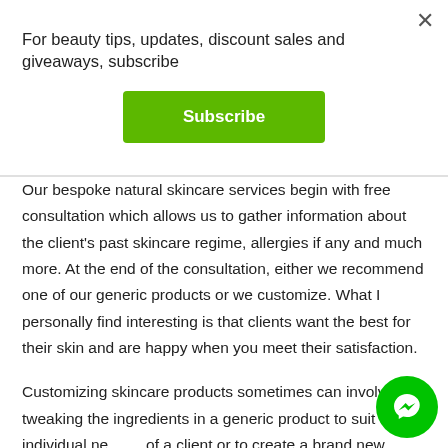For beauty tips, updates, discount sales and giveaways, subscribe
[Figure (other): Green Subscribe button]
Our bespoke natural skincare services begin with free consultation which allows us to gather information about the client's past skincare regime, allergies if any and much more. At the end of the consultation, either we recommend one of our generic products or we customize. What I personally find interesting is that clients want the best for their skin and are happy when you meet their satisfaction.
Customizing skincare products sometimes can involve tweaking the ingredients in a generic product to suit the individual needs of a client or to create a brand new product entirely. Sometimes its about changing the texture and packaging of our products. Take this one below for an example:
[Figure (other): Green Facebook Messenger chat badge icon in bottom right corner]